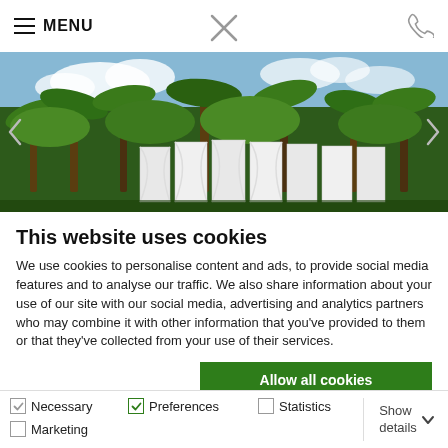≡ MENU
[Figure (photo): Outdoor resort area with tall palm trees and tropical foliage in background; white curtained cabanas or pavilions in foreground under a blue sky with clouds.]
This website uses cookies
We use cookies to personalise content and ads, to provide social media features and to analyse our traffic. We also share information about your use of our site with our social media, advertising and analytics partners who may combine it with other information that you've provided to them or that they've collected from your use of their services.
Allow all cookies
Allow selection
Use necessary cookies only
Necessary  Preferences  Statistics  Marketing  Show details